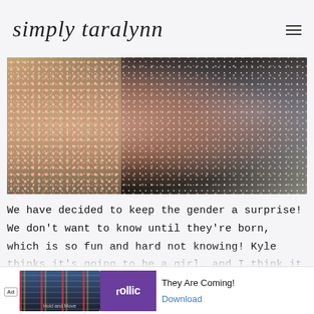simply taralynn
[Figure (photo): Close-up photo of floral patterned fabric — black fabric with small white and tan floral/speckle pattern in the center and right, colorful multicolor speckled fabric on the left]
We have decided to keep the gender a surprise! We don't want to know until they're born, which is so fun and hard not knowing! Kyle thinks it's going to be a girl, and I think it will be a boy. It does help not knowing the ge... ne...
[Figure (screenshot): Advertisement bar at bottom: Ad badge, image thumbnail with bar chart graphic and 'Hold and Move' text, purple Rollic logo block, text 'They Are Coming!' and blue 'Download' link]